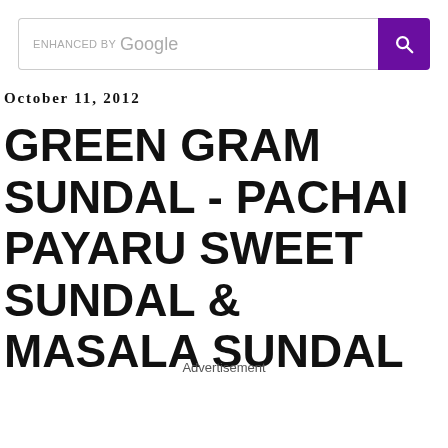[Figure (screenshot): Google search bar with purple search button]
October 11, 2012
GREEN GRAM SUNDAL - PACHAI PAYARU SWEET SUNDAL & MASALA SUNDAL
Advertisement